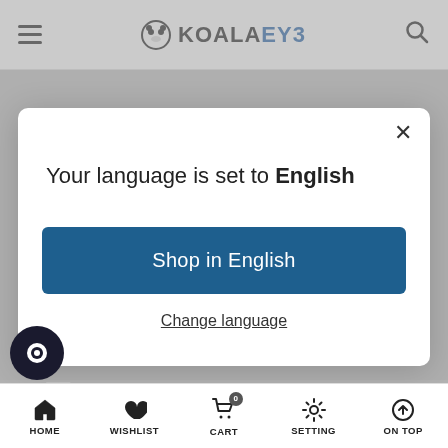KOALAEYE
Your language is set to English
Shop in English
Change language
make kinds of products effectively protect eye health, re... andards have been formulated. Based on the
HOME  WISHLIST  CART  SETTING  ON TOP